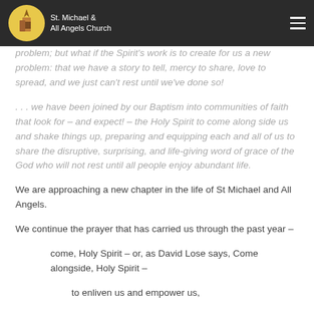St. Michael & All Angels Church
problem; but what if the Spirit's work is to create for us a new problem: that we have a story to tell, mercy to share, love to spread, and we just can't rest until we've done so!
. . . we have been joined by our Baptism into communities of faith that look for – and expect! – the Holy Spirit to come along side us and shake things up, preparing and equipping each and all of us to share the disruptive, surprising, and life-giving word of grace of the God who will not rest until all people enjoy abundant life.
We are approaching a new chapter in the life of St Michael and All Angels.
We continue the prayer that has carried us through the past year –
come, Holy Spirit – or, as David Lose says, Come alongside, Holy Spirit –
to enliven us and empower us,
to comfort us but not let us get too comfortable,